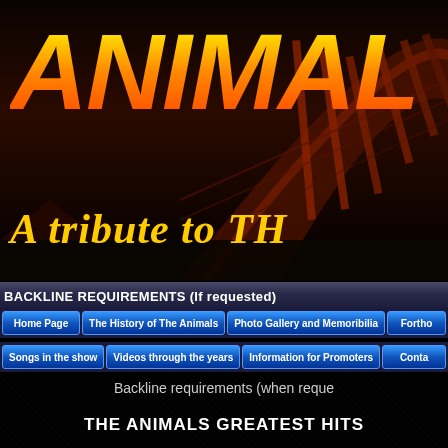[Figure (screenshot): Website banner with bridge background image and ANIMAL text in orange/yellow gradient with 'A tribute to TH' subtitle in italic yellow]
BACKLINE REQUIREMENTS (If requested)
Home Page
The History of The Animals
Photo Gallery and Memoribilia
Fortho...
Songs in the show
Videos through the years
Information for Promoters
Conta...
Backline requirements (when reque...
THE ANIMALS GREATEST HITS...